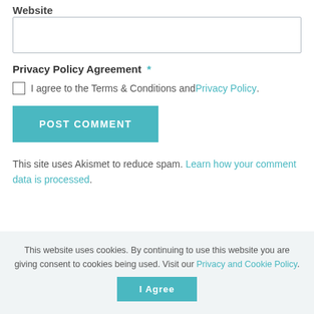Website
Privacy Policy Agreement *
I agree to the Terms & Conditions and Privacy Policy.
POST COMMENT
This site uses Akismet to reduce spam. Learn how your comment data is processed.
This website uses cookies. By continuing to use this website you are giving consent to cookies being used. Visit our Privacy and Cookie Policy.